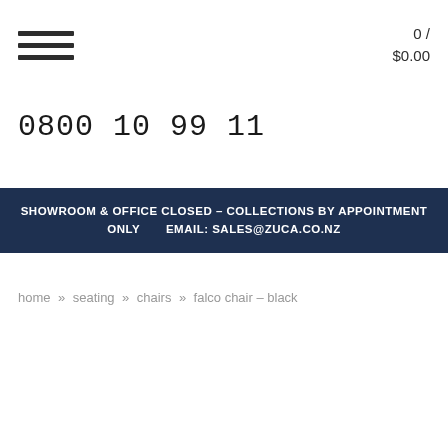☰  0 / $0.00
0800 10 99 11
SHOWROOM & OFFICE CLOSED – COLLECTIONS BY APPOINTMENT ONLY   EMAIL: SALES@ZUCA.CO.NZ
home » seating » chairs » falco chair – black